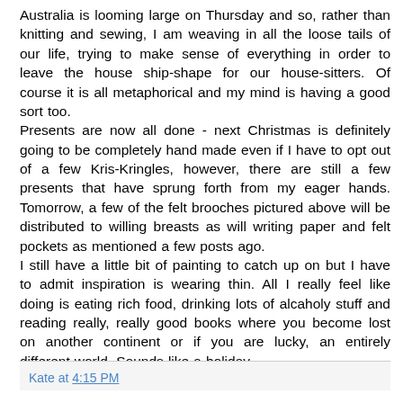Australia is looming large on Thursday and so, rather than knitting and sewing, I am weaving in all the loose tails of our life, trying to make sense of everything in order to leave the house ship-shape for our house-sitters. Of course it is all metaphorical and my mind is having a good sort too. Presents are now all done - next Christmas is definitely going to be completely hand made even if I have to opt out of a few Kris-Kringles, however, there are still a few presents that have sprung forth from my eager hands. Tomorrow, a few of the felt brooches pictured above will be distributed to willing breasts as will writing paper and felt pockets as mentioned a few posts ago.
I still have a little bit of painting to catch up on but I have to admit inspiration is wearing thin. All I really feel like doing is eating rich food, drinking lots of alcaholy stuff and reading really, really good books where you become lost on another continent or if you are lucky, an entirely different world. Sounds like a holiday....
Kate at 4:15 PM